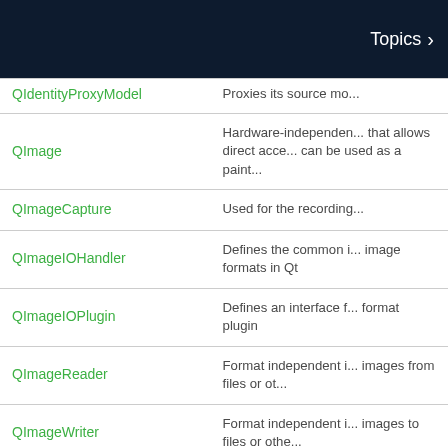Topics
| Class | Description |
| --- | --- |
| QIdentityProxyModel | Proxies its source mo... |
| QImage | Hardware-independent... that allows direct acce... can be used as a paint... |
| QImageCapture | Used for the recording... |
| QImageIOHandler | Defines the common i... image formats in Qt |
| QImageIOPlugin | Defines an interface f... format plugin |
| QImageReader | Format independent i... images from files or ot... |
| QImageWriter | Format independent i... images to files or othe... |
| QInputDevice | Describes a device fro... originates |
| QInputDialog | Simple convenience di... from the user |
|  | The base class for ev... |